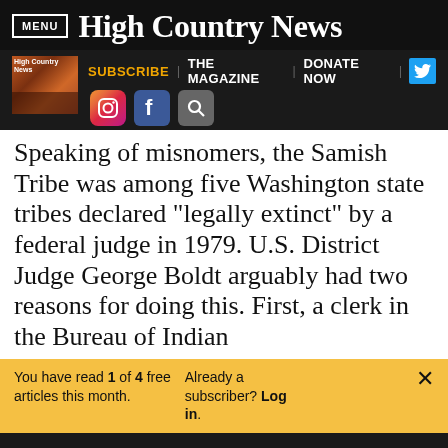MENU | High Country News
[Figure (screenshot): High Country News sub-navigation bar with magazine thumbnail, SUBSCRIBE, THE MAGAZINE, DONATE NOW links, Twitter button, Instagram, Facebook, and search icons]
Speaking of misnomers, the Samish Tribe was among five Washington state tribes declared "legally extinct" by a federal judge in 1979. U.S. District Judge George Boldt arguably had two reasons for doing this. First, a clerk in the Bureau of Indian
You have read 1 of 4 free articles this month. Already a subscriber? Log in.
Support independent journalism. Subscribe